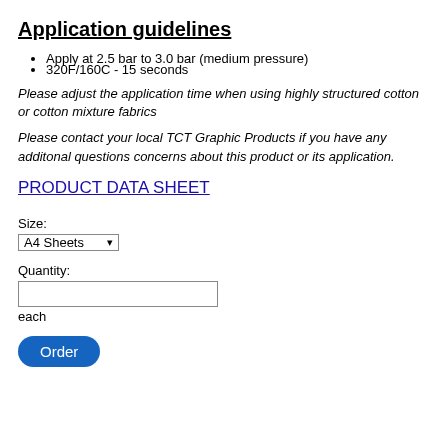Application guidelines
Apply at 2.5 bar to 3.0 bar (medium pressure)
320F/160C - 15 seconds
Please adjust the application time when using highly structured cotton or cotton mixture fabrics
Please contact your local TCT Graphic Products if you have any additonal questions concerns about this product or its application.
PRODUCT DATA SHEET
Size:
A4 Sheets
Quantity:
each
Order